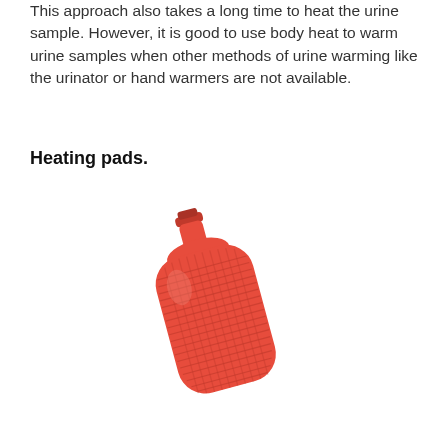This approach also takes a long time to heat the urine sample. However, it is good to use body heat to warm urine samples when other methods of urine warming like the urinator or hand warmers are not available.
Heating pads.
[Figure (photo): A red rubber hot water bottle heating pad, shown at a slight angle. The bottle has a textured ribbed body and a narrow neck with a stopper cap at the top.]